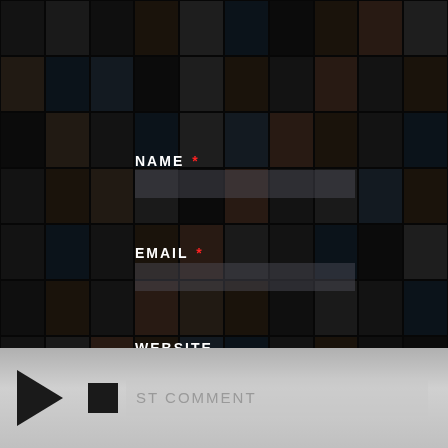[Figure (screenshot): Grid of hip-hop album covers as dark background with overlay, showing multiple rows and columns of album art in muted/darkened tones]
NAME *
EMAIL *
WEBSITE
[Figure (infographic): Bottom media player bar with play triangle button, stop square button, and POST COMMENT input field on grey gradient background]